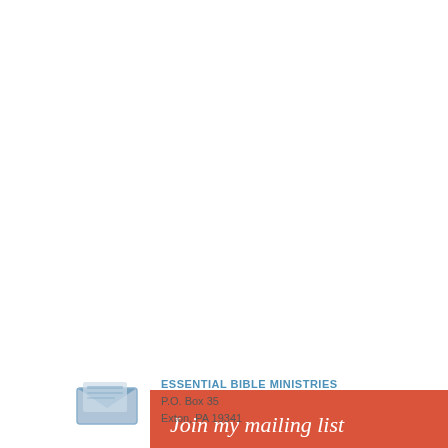Join my mailing list
Enter your email here*
Subscribe Now
[Figure (logo): Essential Bible Ministries logo — a blue envelope/book icon]
ESSENTIAL BIBLE MINISTRIES
P.O. Box 35
Exton, PA 19341